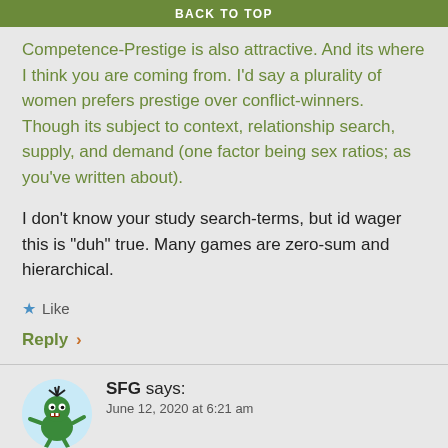BACK TO TOP
Competence-Prestige is also attractive. And its where I think you are coming from. I’d say a plurality of women prefers prestige over conflict-winners. Though its subject to context, relationship search, supply, and demand (one factor being sex ratios; as you’ve written about).
I don’t know your study search-terms, but id wager this is “duh” true. Many games are zero-sum and hierarchical.
★ Like
Reply ›
SFG says:
June 12, 2020 at 6:21 am
I don’t know why you didn’t include “don’t agree with